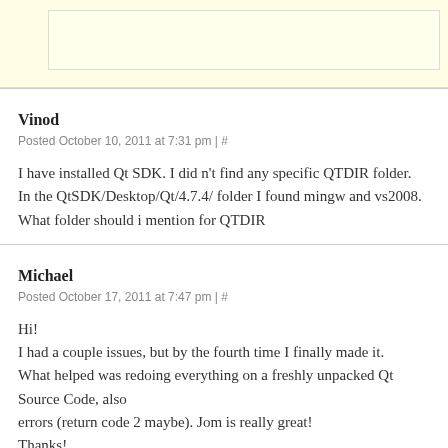[Figure (other): Yellow/cream colored box with inner nested lighter yellow box, partial view at top of page]
Vinod
Posted October 10, 2011 at 7:31 pm | #
I have installed Qt SDK. I did n't find any specific QTDIR folder. In the QtSDK/Desktop/Qt/4.7.4/ folder I found mingw and vs2008. What folder should i mention for QTDIR
Michael
Posted October 17, 2011 at 7:47 pm | #
Hi! I had a couple issues, but by the fourth time I finally made it. What helped was redoing everything on a freshly unpacked Qt Source Code, also errors (return code 2 maybe). Jom is really great! Thanks!